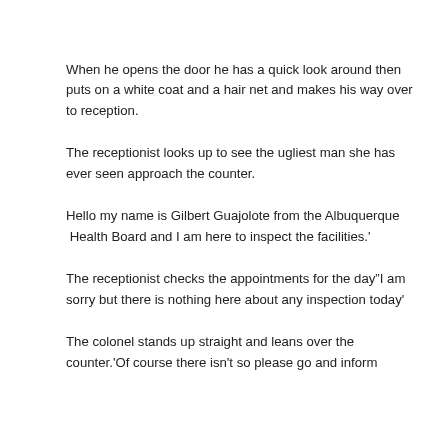When he opens the door he has a quick look around then puts on a white coat and a hair net and makes his way over to reception.
The receptionist looks up to see the ugliest man she has ever seen approach the counter.
Hello my name is Gilbert Guajolote from the Albuquerque  Health Board and I am here to inspect the facilities.'
The receptionist checks the appointments for the day"I am sorry but there is nothing here about any inspection today'
The colonel stands up straight and leans over the counter.'Of course there isn't so please go and inform